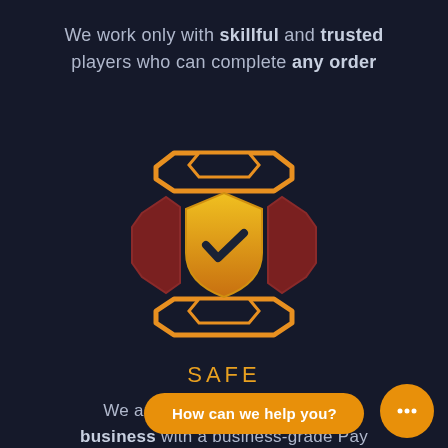We work only with skillful and trusted players who can complete any order
[Figure (illustration): Gaming security icon: orange hexagonal bracket shapes top and bottom, dark red angular bracket shapes on left and right, and a gold/yellow shield with a dark checkmark in the center]
SAFE
We are an officially registered business with a business-grade Pay
How can we help you?